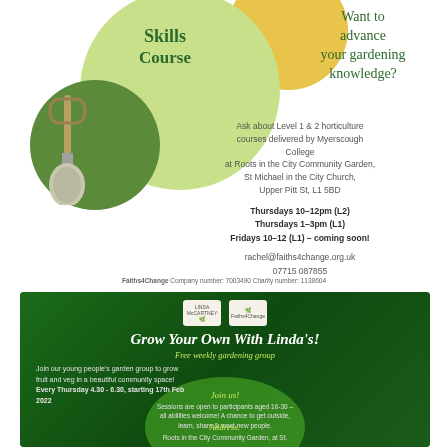Horticulture Skills Course
Want to advance your gardening knowledge?
Ask about Level 1 & 2 horticulture courses delivered by Myerscough College at Roots in the City Community Garden, St Michael in the City Church, Upper Pitt St, L1 5BD
Thursdays 10-12pm (L2)
Thursdays 1-3pm (L1)
Fridays 10-12 (L1) - coming soon!
rachel@faiths4change.org.uk
07715 087855
Faiths4Change Company number: 7003490 Charity number: 1138604
[Figure (infographic): Green community garden promotional flyer with logos for Linda McCartney and Faiths4Change]
Grow Your Own With Linda's!
Free weekly gardening group
Join our young people's garden group to grow fruit and veg in a beautiful community space! Every Thursday 4.30 - 6.30, starting 17th Feb 2022
Join us!
Sessions are open to participants aged 16-30 - all abilities welcome! A chance to get outside, learn, share & meet new people.
Address:
Roots in the City Community Garden, at St.